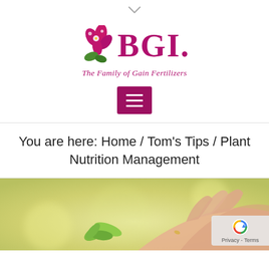[Figure (logo): BGI fertilizers logo with flower graphic and tagline 'The Family of Gain Fertilizers']
[Figure (other): Hamburger menu button (magenta/dark pink square with three white horizontal lines)]
You are here: Home / Tom's Tips / Plant Nutrition Management
[Figure (photo): Photo of a person's hand cradling a small green plant seedling with leaves, soft blurred yellow-green background. reCAPTCHA badge overlaid in bottom-right corner reading 'Privacy - Terms'.]